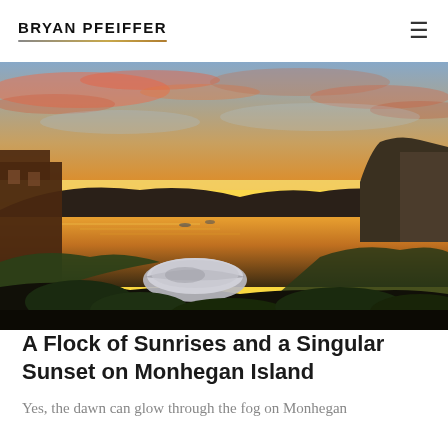BRYAN PFEIFFER
[Figure (photo): Panoramic sunset photo over Monhegan Island harbor. Dramatic orange and pink clouds fill the sky, with a golden horizon over calm water. Buildings visible on the left, rocky hillside on the right, and an overturned boat in the foreground among green vegetation.]
A Flock of Sunrises and a Singular Sunset on Monhegan Island
Yes, the dawn can glow through the fog on Monhegan